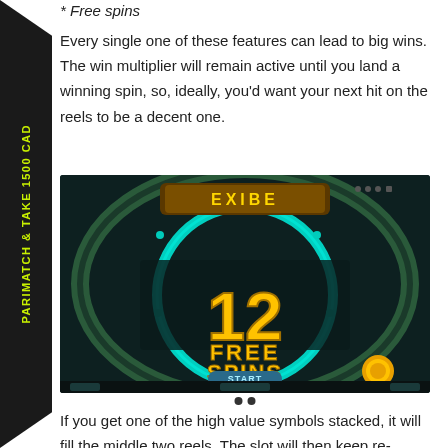Free spins
Every single one of these features can lead to big wins. The win multiplier will remain active until you land a winning spin, so, ideally, you'd want your next hit on the reels to be a decent one.
[Figure (screenshot): Slot game screenshot showing '12 FREE SPINS' with START button on a dark themed game interface with a circular ornate wheel design and gold text]
If you get one of the high value symbols stacked, it will fill the middle two reels. The slot will then keep re-spinning, locking in place any additional symbols that land on the